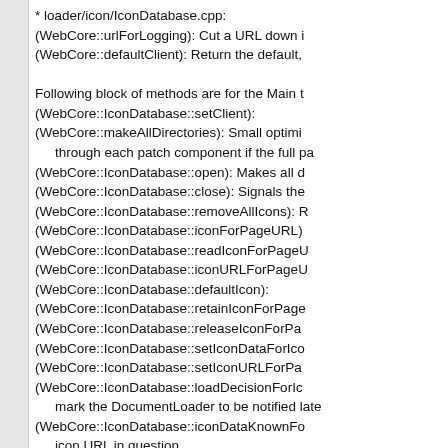* loader/icon/IconDatabase.cpp:
(WebCore::urlForLogging): Cut a URL down i
(WebCore::defaultClient): Return the default,

Following block of methods are for the Main t
(WebCore::IconDatabase::setClient):
(WebCore::makeAllDirectories): Small optimi
  through each patch component if the full pa
(WebCore::IconDatabase::open): Makes all d
(WebCore::IconDatabase::close): Signals the
(WebCore::IconDatabase::removeAllIcons): R
(WebCore::IconDatabase::iconForPageURL)
(WebCore::IconDatabase::readIconForPageU
(WebCore::IconDatabase::iconURLForPageU
(WebCore::IconDatabase::defaultIcon):
(WebCore::IconDatabase::retainIconForPage
(WebCore::IconDatabase::releaseIconForPa
(WebCore::IconDatabase::setIconDataForIco
(WebCore::IconDatabase::setIconURLForPa
(WebCore::IconDatabase::loadDecisionForIc
  mark the DocumentLoader to be notified late
(WebCore::IconDatabase::iconDataKnownFo
  icon URL in question
(WebCore::IconDatabase::setEnabled):
(WebCore::IconDatabase::isEnabled):
(WebCore::IconDatabase::setPrivateBrowsin
(WebCore::IconDatabase::isPrivateBrowsing
(WebCore::IconDatabase::delayDatabaseCle
  background thread.
(WebCore::IconDatabase::allowDatabaseClo